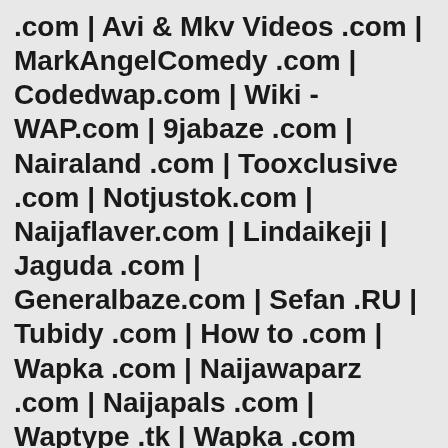.com | Avi & Mkv Videos .com | MarkAngelComedy .com | Codedwap.com | Wiki - WAP.com | 9jabaze .com | Nairaland .com | Tooxclusive .com | Notjustok.com | Naijaflaver.com | Lindaikeji | Jaguda .com | Generalbaze.com | Sefan .RU | Tubidy .com | How to .com | Wapka .com | Naijawaparz .com | Naijapals .com | Waptype .tk | Wapka .com
2pac Dear Mama, 2pac Dear Mama, Ed Sheeran Perfect Duet With Beyonc, Download Audio Busta Rhyme Ft Niki Manaj Twerkit, Busta Rhymes Ft Niki Manaj Twerkit Download, Despacito, Download Busta Rhyme Ft Niki Manaj Twerkit, Download Shane Eagle Let It Flow Audio, Download Shane Eagle Let It Flow, Download Mc Hammer U Cant Touch This, Download Mc Hammer U Cant Touch This, Download Shane E, Download Mc Hammer Cant Touch Th, Download Nadia Nakai Ft Cassper Nyovest Na